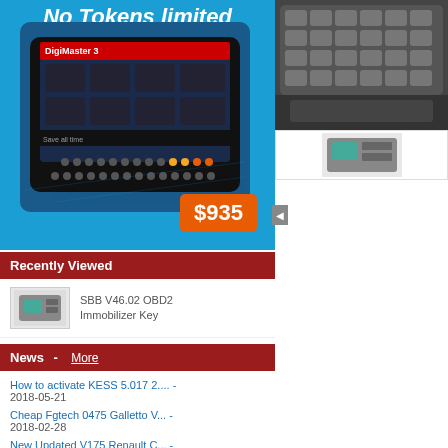[Figure (photo): Product banner showing DigiMaster 3 device with blue background and $935 price tag]
Recently Viewed
SBB V46.02 OBD2 Immobilizer Key
News  - More
How to activate KESS 5.017 2.... - 2018-05-21
Cheap Fgtech 0475 Galletto V... - 2018-02-28
New Updated V175 Renault C... - 2018-02-24
[Figure (photo): Keyboard/device top portion visible in right column]
[Figure (screenshot): Online Support chat widget showing Sales Service section with Ms.Fanny [Chat], Ms.Lucy [Msg.], and Skype section with katrina username]
Popular
SBB V46.02 OBD2 Immobilizer Key Programmer
V46.02 CK-100 CK100 Auto Key Programmer Upd